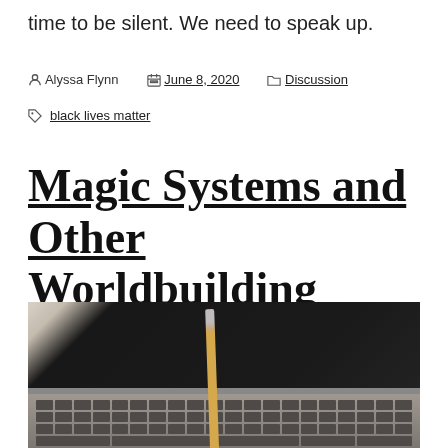time to be silent. We need to speak up.
Alyssa Flynn   June 8, 2020   Discussion
black lives matter
Magic Systems and Other Worldbuilding Problems
[Figure (photo): A laptop computer with a pencil leaning against the keyboard, shot from above at an angle. The laptop screen is dark/black and the keyboard is visible at the bottom of the frame.]